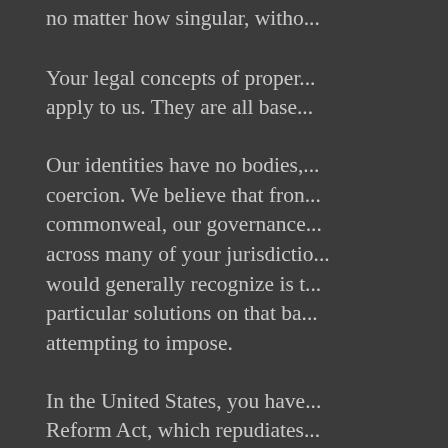no matter how singular, witho...
Your legal concepts of proper... apply to us. They are all base...
Our identities have no bodies,... coercion. We believe that fron... commonweal, our governance... across many of your jurisdictio... would generally recognize is t... particular solutions on that ba... attempting to impose.
In the United States, you have... Reform Act, which repudiates... Jefferson, Washington, Mill, M... must now be born anew in us...
You are terrified of your own c... will always be immigrants. Be... with the parental responsibiliti...